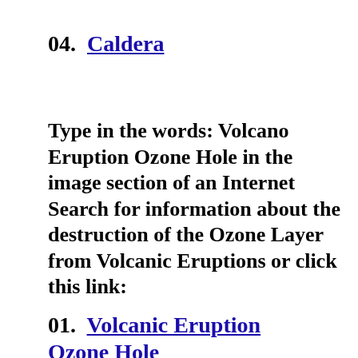04.  Caldera
Type in the words: Volcano Eruption Ozone Hole in the image section of an Internet Search for information about the destruction of the Ozone Layer from Volcanic Eruptions or click this link:
01.  Volcanic Eruption Ozone Hole